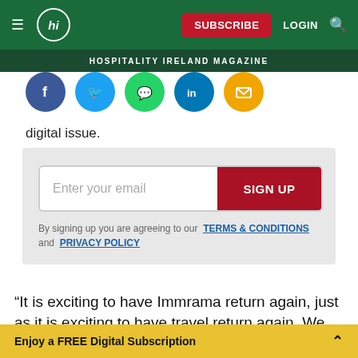hi SUBSCRIBE LOGIN 🔍 | HOSPITALITY IRELAND MAGAZINE
[Figure (illustration): Social media share icons: Facebook (blue), Twitter (blue), WhatsApp (green), LinkedIn (blue), Email (yellow/orange)]
digital issue.
Enter your email | SIGN UP
By signing up you are agreeing to our TERMS & CONDITIONS and PRIVACY POLICY
“It is exciting to have Immrama return again, just as it is exciting to have travel return again. We hope that the festival…
Enjoy a FREE Digital Subscription